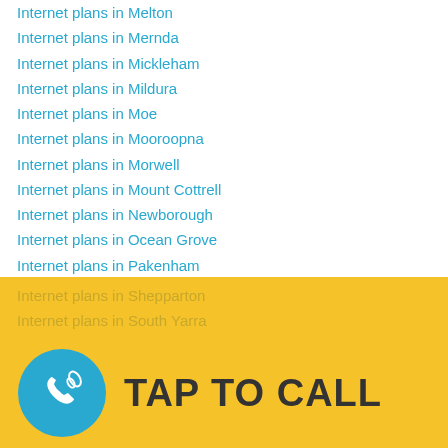Internet plans in Melton
Internet plans in Mernda
Internet plans in Mickleham
Internet plans in Mildura
Internet plans in Moe
Internet plans in Mooroopna
Internet plans in Morwell
Internet plans in Mount Cottrell
Internet plans in Newborough
Internet plans in Ocean Grove
Internet plans in Pakenham
Internet plans in Port Melbourne
Internet plans in Portland
Internet plans in Prahran
Internet plans in Richmond
Internet plans in Rockbank
Internet plans in Sale
Internet plans in Seddon
Internet plans in Shepparton
Internet plans in South Yarra
Internet plans in Southbank
Internet plans in St Kilda
[Figure (other): Tap to call button with phone icon in teal circle on yellow background]